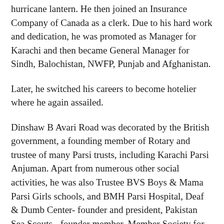hurricane lantern. He then joined an Insurance Company of Canada as a clerk. Due to his hard work and dedication, he was promoted as Manager for Karachi and then became General Manager for Sindh, Balochistan, NWFP, Punjab and Afghanistan.
Later, he switched his careers to become hotelier where he again assailed.
Dinshaw B Avari Road was decorated by the British government, a founding member of Rotary and trustee of many Parsi trusts, including Karachi Parsi Anjuman. Apart from numerous other social activities, he was also Trustee BVS Boys & Mama Parsi Girls schools, and BMH Parsi Hospital, Deaf & Dumb Center- founder and president, Pakistan Sea Scouts - founder member, Member Society for